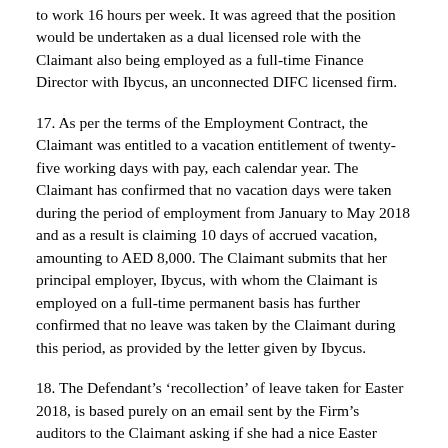to work 16 hours per week. It was agreed that the position would be undertaken as a dual licensed role with the Claimant also being employed as a full-time Finance Director with Ibycus, an unconnected DIFC licensed firm.
17. As per the terms of the Employment Contract, the Claimant was entitled to a vacation entitlement of twenty-five working days with pay, each calendar year. The Claimant has confirmed that no vacation days were taken during the period of employment from January to May 2018 and as a result is claiming 10 days of accrued vacation, amounting to AED 8,000. The Claimant submits that her principal employer, Ibycus, with whom the Claimant is employed on a full-time permanent basis has further confirmed that no leave was taken by the Claimant during this period, as provided by the letter given by Ibycus.
18. The Defendant's ‘recollection’ of leave taken for Easter 2018, is based purely on an email sent by the Firm’s auditors to the Claimant asking if she had a nice Easter Holiday. This was in reference to the Claimant having Easter Sunday off as a result of Ibycus allowing Easter Sunday as an office holiday for